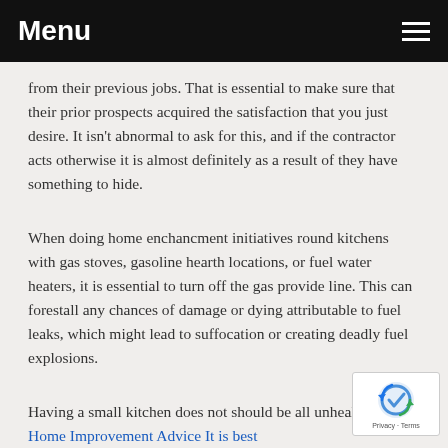Menu
from their previous jobs. That is essential to make sure that their prior prospects acquired the satisfaction that you just desire. It isn't abnormal to ask for this, and if the contractor acts otherwise it is almost definitely as a result of they have something to hide.
When doing home enchancment initiatives round kitchens with gas stoves, gasoline hearth locations, or fuel water heaters, it is essential to turn off the gas provide line. This can forestall any chances of damage or dying attributable to fuel leaks, which might lead to suffocation or creating deadly fuel explosions.
Having a small kitchen does not should be all unhealthy. Since Home Improvement Advice It is best